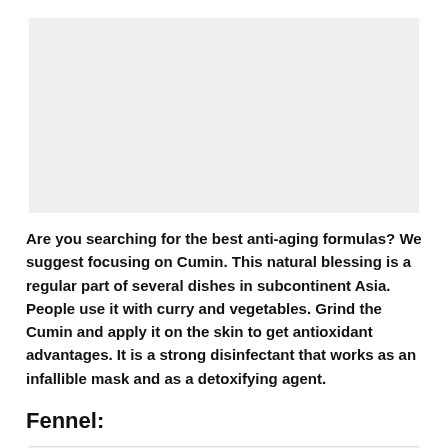[Figure (photo): Large image placeholder with light gray background at the top of the page]
Are you searching for the best anti-aging formulas? We suggest focusing on Cumin. This natural blessing is a regular part of several dishes in subcontinent Asia. People use it with curry and vegetables. Grind the Cumin and apply it on the skin to get antioxidant advantages. It is a strong disinfectant that works as an infallible mask and as a detoxifying agent.
Fennel:
[Figure (photo): Partial image placeholder with light gray background at the bottom of the page]